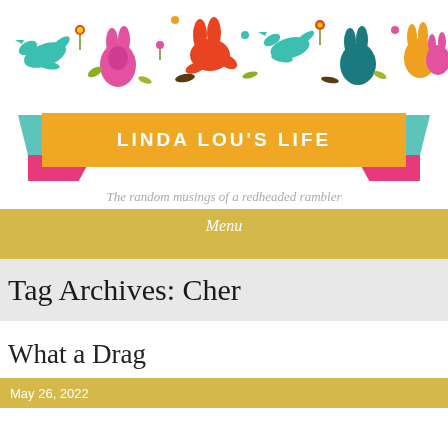[Figure (illustration): Colorful folk-art style banner with rabbits, birds, and flowers in multiple bright colors on white background]
LINDA LOU'S LIFE
The random musings of a redheaded rambler
Menu
Tag Archives: Cher
What a Drag
May 26, 2022